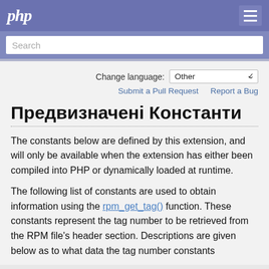php
Search
Change language: Other
Submit a Pull Request   Report a Bug
Предвизначені Константи
The constants below are defined by this extension, and will only be available when the extension has either been compiled into PHP or dynamically loaded at runtime.
The following list of constants are used to obtain information using the rpm_get_tag() function. These constants represent the tag number to be retrieved from the RPM file's header section. Descriptions are given below as to what data the tag number constants